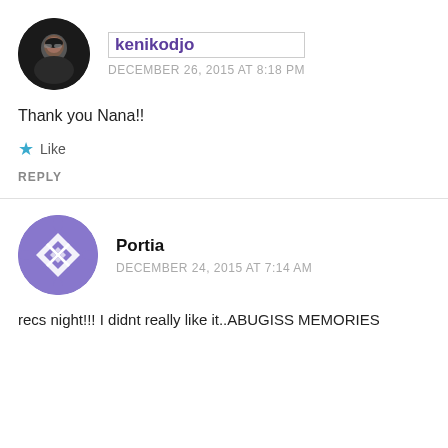[Figure (photo): Circular avatar photo of kenikodjo, a person wearing glasses]
kenikodjo
DECEMBER 26, 2015 AT 8:18 PM
Thank you Nana!!
Like
REPLY
[Figure (logo): Circular purple avatar with geometric diamond pattern for Portia]
Portia
DECEMBER 24, 2015 AT 7:14 AM
recs night!!! I didnt really like it..ABUGISS MEMORIES